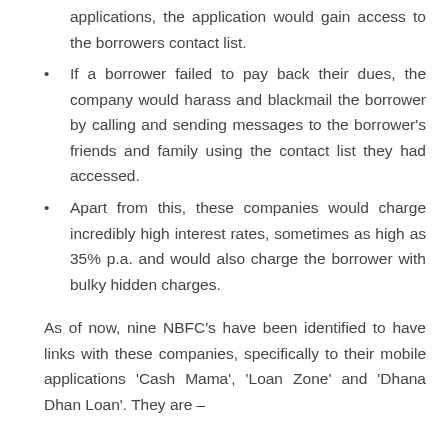applications, the application would gain access to the borrowers contact list.
If a borrower failed to pay back their dues, the company would harass and blackmail the borrower by calling and sending messages to the borrower's friends and family using the contact list they had accessed.
Apart from this, these companies would charge incredibly high interest rates, sometimes as high as 35% p.a. and would also charge the borrower with bulky hidden charges.
As of now, nine NBFC's have been identified to have links with these companies, specifically to their mobile applications 'Cash Mama', 'Loan Zone' and 'Dhana Dhan Loan'. They are –